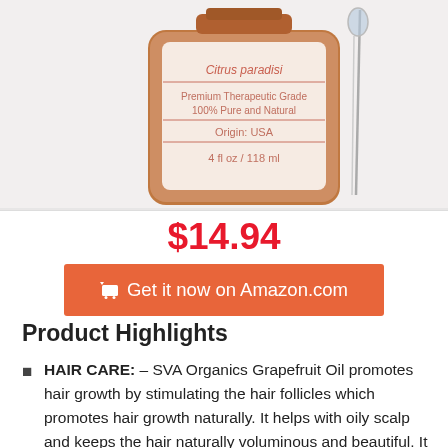[Figure (photo): Product photo of SVA Organics Grapefruit Oil bottle (amber glass, pink/rose label) showing Citrus paradisi, Premium Therapeutic Grade, 100% Pure and Natural, Origin: USA, 4 fl oz / 118 ml, with a glass dropper pipette beside it]
$14.94
🛒 Get it now on Amazon.com
Product Highlights
HAIR CARE: – SVA Organics Grapefruit Oil promotes hair growth by stimulating the hair follicles which promotes hair growth naturally. It helps with oily scalp and keeps the hair naturally voluminous and beautiful. It promotes hair bounce, luster and vitality. Adding a few drops of Grapefruit oil to your favorite carrier oils like Olive Oil, Almond Oil, Argan Oil gives